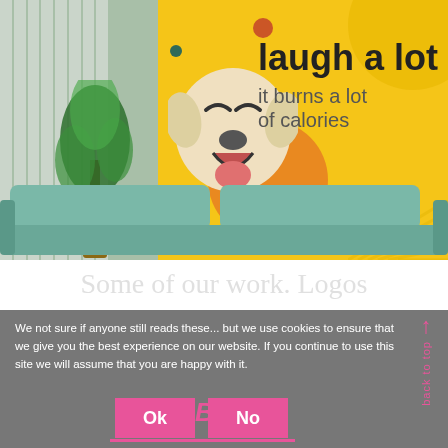[Figure (photo): Office lounge area with vertical blinds and a plant on the left, a yellow wall mural on the right featuring a laughing dog and text 'laugh a lot it burns a lot of calories', with a teal sofa in the foreground.]
We not sure if anyone still reads these... but we use cookies to ensure that we give you the best experience on our website. If you continue to use this site we will assume that you are happy with it.
Blog
Ok
No
back to top